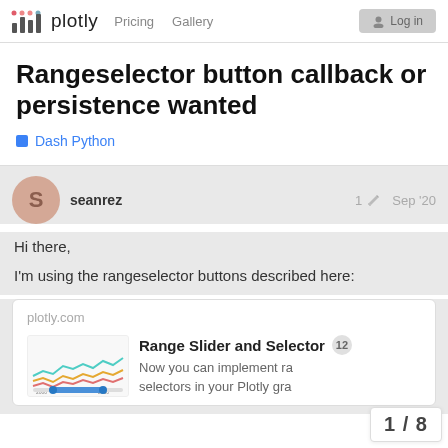plotly  Pricing  Gallery  Log in
Rangeselector button callback or persistence wanted
Dash Python
seanrez  1  Sep '20
Hi there,
I'm using the rangeselector buttons described here:
[Figure (screenshot): Link card preview for plotly.com showing 'Range Slider and Selector' with a small chart thumbnail and description text 'Now you can implement rangeselectors in your Plotly gra...']
1 / 8